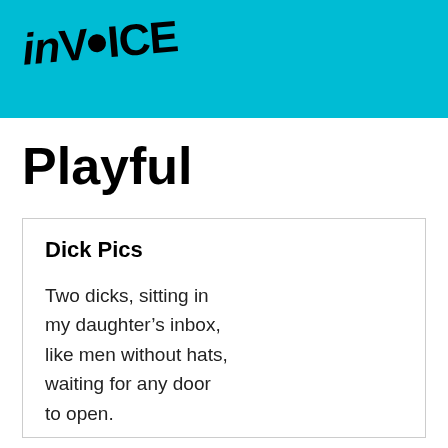inVOICE
Playful
Dick Pics
Two dicks, sitting in
my daughter’s inbox,
like men without hats,
waiting for any door
to open.
*
Sighting a stranger’s penis
used to be rare. Remember raincoats?